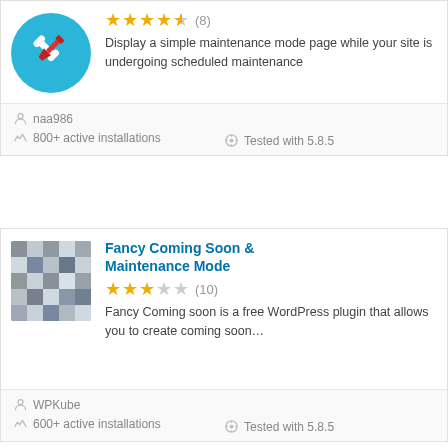[Figure (illustration): Circular teal icon with white wrench and red screwdriver crossed]
Display a simple maintenance mode page while your site is undergoing scheduled maintenance
naa986
800+ active installations
Tested with 5.8.5
[Figure (photo): Blurred/pixelated gray square image]
Fancy Coming Soon & Maintenance Mode
Fancy Coming soon is a free WordPress plugin that allows you to create coming soon…
WPKube
600+ active installations
Tested with 5.8.5